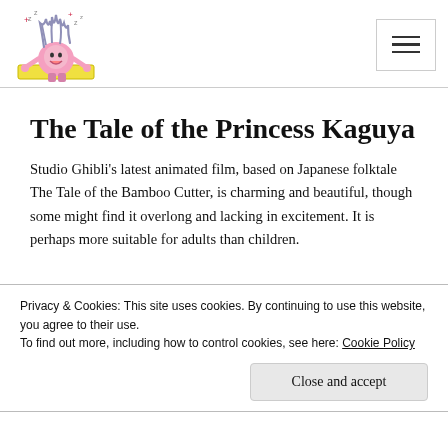[Figure (illustration): Cartoon character illustration of a small round pink figure with wild spiky gray hair sticking up, arms raised, with lightning/electricity symbols, standing on a yellow platform. Used as a website logo.]
The Tale of the Princess Kaguya
Studio Ghibli's latest animated film, based on Japanese folktale The Tale of the Bamboo Cutter, is charming and beautiful, though some might find it overlong and lacking in excitement. It is perhaps more suitable for adults than children.
Privacy & Cookies: This site uses cookies. By continuing to use this website, you agree to their use.
To find out more, including how to control cookies, see here: Cookie Policy
Close and accept